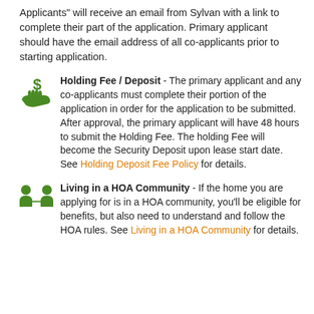Applicants" will receive an email from Sylvan with a link to complete their part of the application. Primary applicant should have the email address of all co-applicants prior to starting application.
Holding Fee / Deposit - The primary applicant and any co-applicants must complete their portion of the application in order for the application to be submitted. After approval, the primary applicant will have 48 hours to submit the Holding Fee. The holding Fee will become the Security Deposit upon lease start date. See Holding Deposit Fee Policy for details.
Living in a HOA Community - If the home you are applying for is in a HOA community, you'll be eligible for benefits, but also need to understand and follow the HOA rules. See Living in a HOA Community for details.